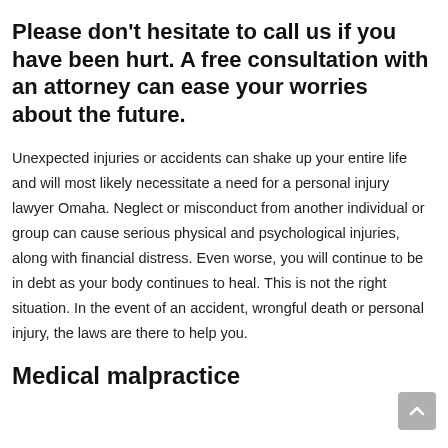Please don't hesitate to call us if you have been hurt. A free consultation with an attorney can ease your worries about the future.
Unexpected injuries or accidents can shake up your entire life and will most likely necessitate a need for a personal injury lawyer Omaha. Neglect or misconduct from another individual or group can cause serious physical and psychological injuries, along with financial distress. Even worse, you will continue to be in debt as your body continues to heal. This is not the right situation. In the event of an accident, wrongful death or personal injury, the laws are there to help you.
Medical malpractice